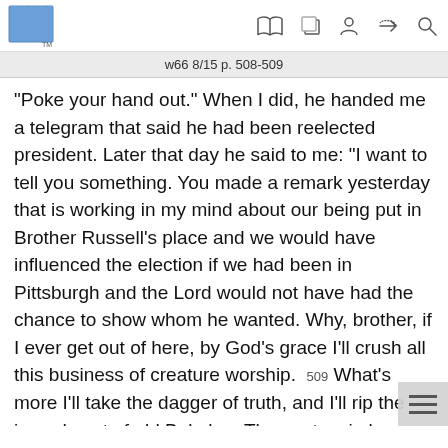w66 8/15 p. 508-509
“Poke your hand out.” When I did, he handed me a telegram that said he had been reelected president. Later that day he said to me: “I want to tell you something. You made a remark yesterday that is working in my mind about our being put in Brother Russell’s place and we would have influenced the election if we had been in Pittsburgh and the Lord would not have had the chance to show whom he wanted. Why, brother, if I ever get out of here, by God’s grace I’ll crush all this business of creature worship. 509 What’s more I’ll take the dagger of truth, and I’ll rip the innards out of old Babylon. They got us in here, but we’ll get out.” From the time of his release down to his death, he carried out this promise by exposing the wickedness of Babylon the Great, the world empire of